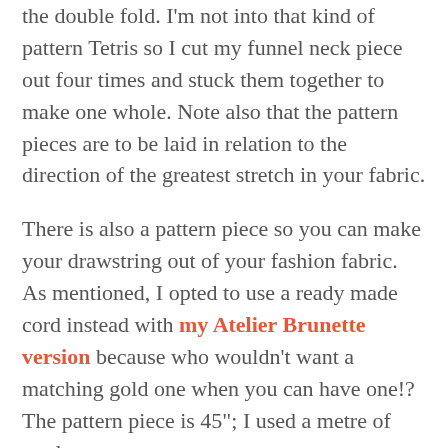the double fold. I'm not into that kind of pattern Tetris so I cut my funnel neck piece out four times and stuck them together to make one whole. Note also that the pattern pieces are to be laid in relation to the direction of the greatest stretch in your fabric.
There is also a pattern piece so you can make your drawstring out of your fashion fabric. As mentioned, I opted to use a ready made cord instead with my Atelier Brunette version because who wouldn't want a matching gold one when you can have one!? The pattern piece is 45"; I used a metre of cord.